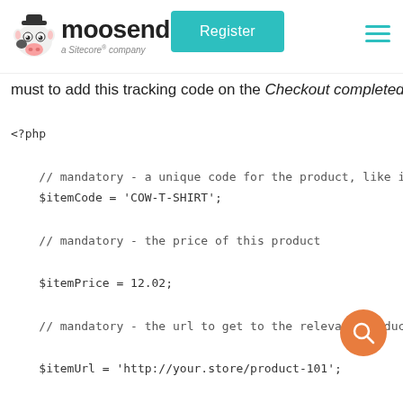[Figure (logo): Moosend logo with cow mascot and 'a Sitecore company' tagline, plus Register button and hamburger menu]
must to add this tracking code on the Checkout completed
<?php

    // mandatory - a unique code for the product, like i
    $itemCode = 'COW-T-SHIRT';

    // mandatory - the price of this product

    $itemPrice = 12.02;

    // mandatory - the url to get to the relevant product

    $itemUrl = 'http://your.store/product-101';

    // mandatory $itemQuantity = 2;

    // mandatory - the total price for purchasing the gi

    product $itemTotalPrice = 24.04;

    // mandatory - the name / title of this product